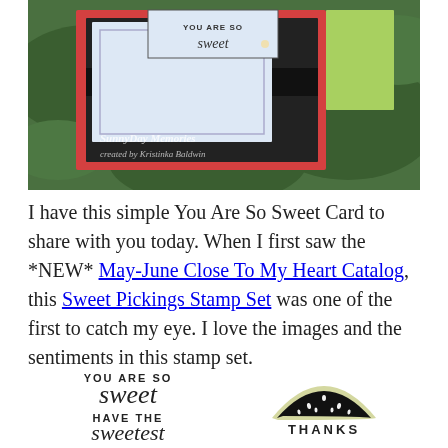[Figure (photo): Photo of handmade greeting card with 'YOU ARE SO sweet' sentiment on white/blue card stock layered on black and red backgrounds, displayed against green leafy backdrop. Watermark reads 'SunnyDay Memories created by Kristinka Baldwin']
I have this simple You Are So Sweet Card to share with you today. When I first saw the *NEW* May-June Close To My Heart Catalog, this Sweet Pickings Stamp Set was one of the first to catch my eye. I love the images and the sentiments in this stamp set.
[Figure (photo): Product image showing Sweet Pickings Stamp Set stamps: 'YOU ARE SO sweet', 'HAVE THE sweetest', a watermelon slice die image, and 'THANKS' text stamp]